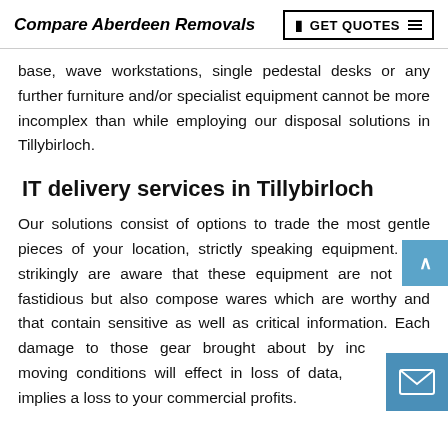Compare Aberdeen Removals | GET QUOTES
base, wave workstations, single pedestal desks or any further furniture and/or specialist equipment cannot be more incomplex than while employing our disposal solutions in Tillybirloch.
IT delivery services in Tillybirloch
Our solutions consist of options to trade the most gentle pieces of your location, strictly speaking equipment. We strikingly are aware that these equipment are not only fastidious but also compose wares which are worthy and that contain sensitive as well as critical information. Each damage to those gear brought about by inc moving conditions will effect in loss of data, mainly implies a loss to your commercial profits.